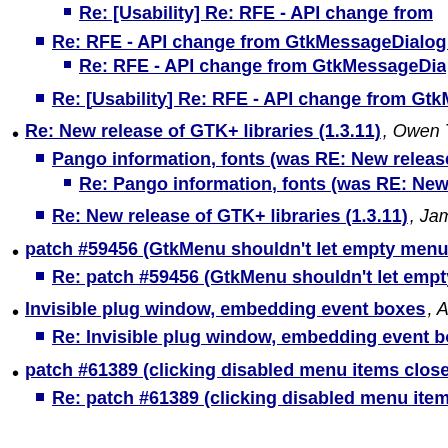Re: [Usability] Re: RFE - API change from
Re: RFE - API change from GtkMessageDialog t
Re: RFE - API change from GtkMessageDia
Re: [Usability] Re: RFE - API change from GtkM
Re: New release of GTK+ libraries (1.3.11), Owen Taylor
Pango information, fonts (was RE: New release of G
Re: Pango information, fonts (was RE: New rele
Re: New release of GTK+ libraries (1.3.11), James He
patch #59456 (GtkMenu shouldn't let empty menu item
Re: patch #59456 (GtkMenu shouldn't let empty me
Invisible plug window, embedding event boxes, Andrea
Re: Invisible plug window, embedding event boxes,
patch #61389 (clicking disabled menu items closes me
Re: patch #61389 (clicking disabled menu items clo